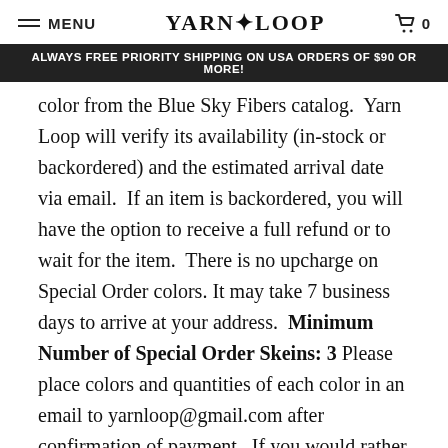MENU  YARN LOOP  0
ALWAYS FREE PRIORITY SHIPPING ON USA ORDERS OF $90 OR MORE!
color from the Blue Sky Fibers catalog. Yarn Loop will verify its availability (in-stock or backordered) and the estimated arrival date via email. If an item is backordered, you will have the option to receive a full refund or to wait for the item. There is no upcharge on Special Order colors. It may take 7 business days to arrive at your address. Minimum Number of Special Order Skeins: 3 Please place colors and quantities of each color in an email to yarnloop@gmail.com after confirmation of payment. If you would rather find out lead times before placing your order, please Contact Us now.